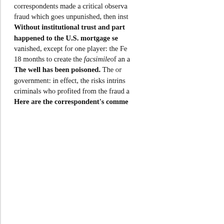correspondents made a critical observa... fraud which goes unpunished, then inst... Without institutional trust and part... happened to the U.S. mortgage se... vanished, except for one player: the Fe... 18 months to create the facsimile of an a... The well has been poisoned. The or... government: in effect, the risks intrins... criminals who profited from the fraud a... Here are the correspondent's comme...
RE: Will bankers Go to Jail fo... small-cap fund was for a time... longer story. Anyway, I obser... was widely publicized. Then i... point, it was safe to go back i... mid-1990s, at which point ba... fraud prosecutions that ma... prosecutions for Internet/tele... never made a significant recov... Watch carefully on the forec...